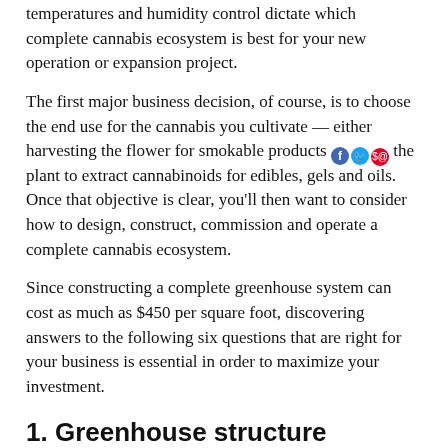temperatures and humidity control dictate which complete cannabis ecosystem is best for your new operation or expansion project.
The first major business decision, of course, is to choose the end use for the cannabis you cultivate — either harvesting the flower for smokable products or the plant to extract cannabinoids for edibles, gels and oils. Once that objective is clear, you'll then want to consider how to design, construct, commission and operate a complete cannabis ecosystem.
Since constructing a complete greenhouse system can cost as much as $450 per square foot, discovering answers to the following six questions that are right for your business is essential in order to maximize your investment.
1. Greenhouse structure
Does the [Monrovia advertisement banner] easily scale fo[r...]
[Figure (illustration): Monrovia advertisement banner showing pink coneflowers/echinacea on a green background with the Monrovia brand name in white text]
Begin with greenhouse design, materials and equipment from